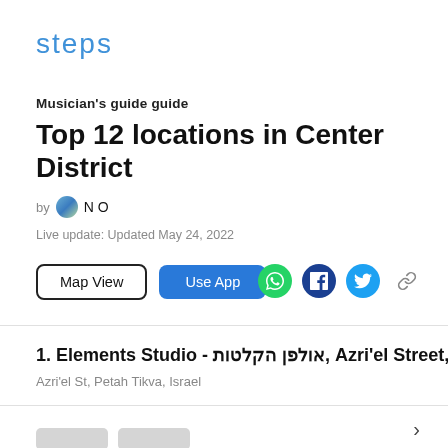steps
Musician's guide guide
Top 12 locations in Center District
by N O
Live update: Updated May 24, 2022
Map View | Use App
1. Elements Studio - אולפן הקלטות, Azri'el Street, Pet
Azri'el St, Petah Tikva, Israel